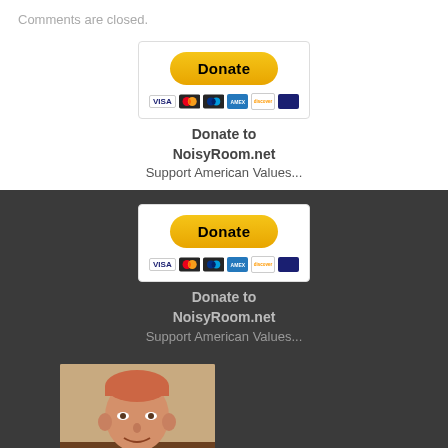Comments are closed.
[Figure (other): PayPal Donate button widget with credit card icons (VISA, Mastercard, PayPal, AmEx, Discover) — first instance on white background]
Donate to NoisyRoom.net
Support American Values...
[Figure (other): PayPal Donate button widget with credit card icons (VISA, Mastercard, PayPal, AmEx, Discover) — second instance on dark background]
Donate to NoisyRoom.net
Support American Values...
[Figure (photo): Photo of a middle-aged man with short reddish hair, smiling, wearing a floral shirt, seated at a desk]
Donate to My Husband